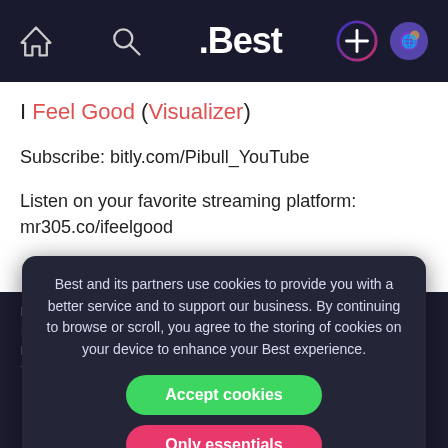[Figure (screenshot): Dark navigation bar with home icon, search icon, .Best logo in center, plus icon with gradient circle, and avatar icon]
I Feel Good (Visualizer)
Subscribe: bitly.com/Pibull_YouTube
Listen on your favorite streaming platform:
mr305.co/ifeelgood
Best and its partners use cookies to provide you with a better service and to support our business. By continuing to browse or scroll, you agree to the storing of cookies on your device to enhance your Best experience.
Accept cookies
Only essentials
Learn more about our privacy policy.